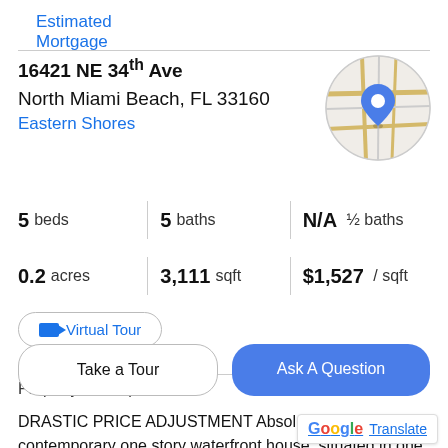Estimated Mortgage
16421 NE 34th Ave
North Miami Beach, FL 33160
Eastern Shores
[Figure (map): Circular map thumbnail showing street layout with blue location pin marker]
5 beds | 5 baths | N/A ½ baths
0.2 acres | 3,111 sqft | $1,527 / sqft
Virtual Tour
Property Description
DRASTIC PRICE ADJUSTMENT Absolutely Gorgeous contemporary one story waterfront house .situated in one
Take a Tour
Ask A Question
G Translate